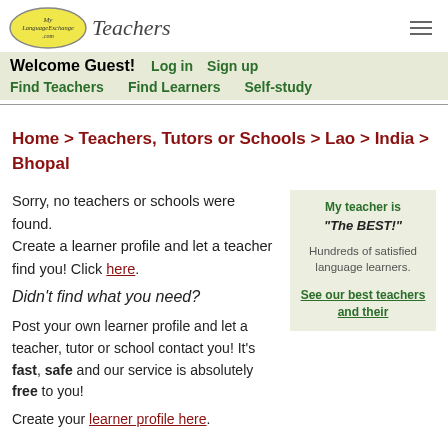[Figure (logo): MyLanguageExchange.com Teachers logo with yellow oval and italic text]
Welcome Guest! Log in Sign up
Find Teachers Find Learners Self-study
Home > Teachers, Tutors or Schools > Lao > India > Bhopal
Sorry, no teachers or schools were found. Create a learner profile and let a teacher find you! Click here.
Didn't find what you need?
Post your own learner profile and let a teacher, tutor or school contact you! It's fast, safe and our service is absolutely free to you!
Create your learner profile here.
My teacher is "The BEST!"

Hundreds of satisfied language learners.

See our best teachers and their